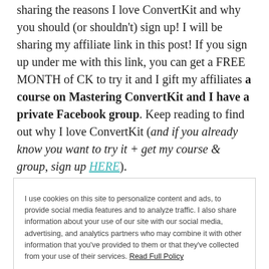sharing the reasons I love ConvertKit and why you should (or shouldn't) sign up! I will be sharing my affiliate link in this post! If you sign up under me with this link, you can get a FREE MONTH of CK to try it and I gift my affiliates a course on Mastering ConvertKit and I have a private Facebook group. Keep reading to find out why I love ConvertKit (and if you already know you want to try it + get my course & group, sign up HERE).
For me, 2015 was the year of EMAIL. I started a list for my lifestyle blog in 2012, mostly to share updates about
I use cookies on this site to personalize content and ads, to provide social media features and to analyze traffic. I also share information about your use of our site with our social media, advertising, and analytics partners who may combine it with other information that you've provided to them or that they've collected from your use of their services. Read Full Policy
Close and accept
Aweber, & ConvertKit). I launched the Free Email